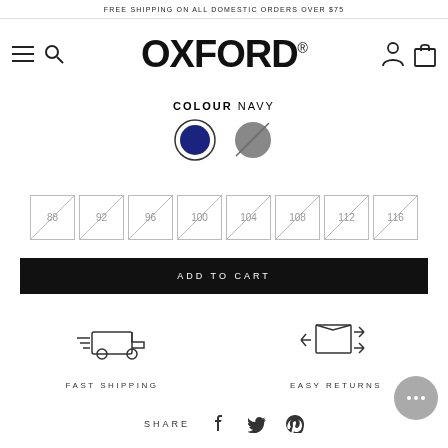FREE SHIPPING ON ALL DOMESTIC ORDERS OVER $75
[Figure (logo): Oxford brand logo with hamburger menu and search icons on left, person and bag icons on right]
COLOUR NAVY
[Figure (illustration): Two colour swatches: navy blue circle (selected, with border) and grey circle]
[Figure (illustration): Eight size selector boxes with diagonal cross lines: 88, 92, 96, 100, 104, 108, 112, 116]
ADD TO CART
[Figure (illustration): Fast shipping icon: delivery truck with motion lines]
FAST SHIPPING
[Figure (illustration): Easy returns icon: box with return arrows]
EASY RETURNS
SHARE